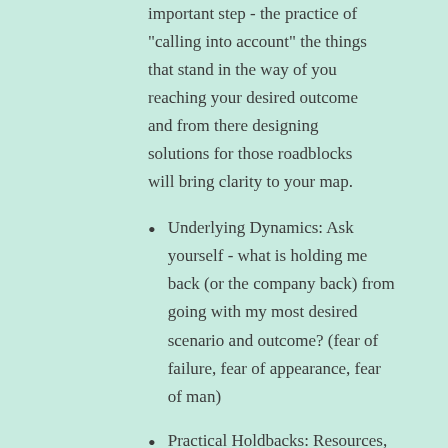important step - the practice of "calling into account" the things that stand in the way of you reaching your desired outcome and from there designing solutions for those roadblocks will bring clarity to your map.
Underlying Dynamics: Ask yourself - what is holding me back (or the company back) from going with my most desired scenario and outcome? (fear of failure, fear of appearance, fear of man)
Practical Holdbacks: Resources, tools, time, or manpower
Solutions: Brainstorm a list of solutions to meet the underlying